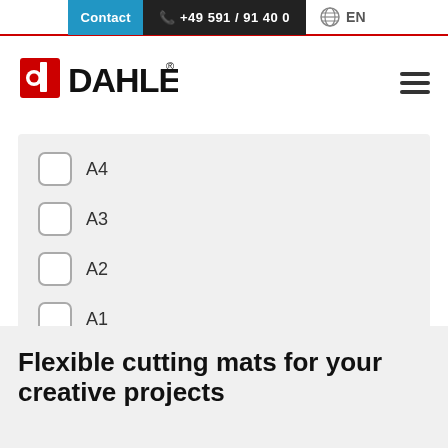Contact +49 591 / 91 40 0 EN
[Figure (logo): Dahle brand logo with red circular icon and bold black DAHLE text with registered trademark symbol]
A4
A3
A2
A1
A0
Flexible cutting mats for your creative projects